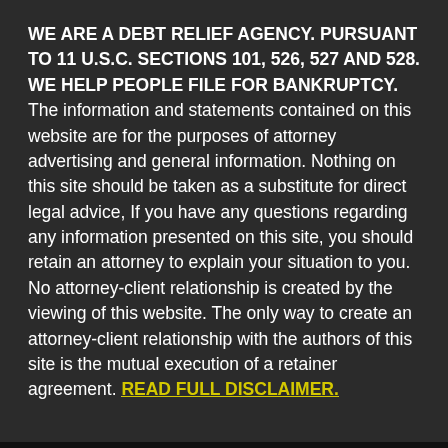WE ARE A DEBT RELIEF AGENCY. PURSUANT TO 11 U.S.C. SECTIONS 101, 526, 527 AND 528. WE HELP PEOPLE FILE FOR BANKRUPTCY. The information and statements contained on this website are for the purposes of attorney advertising and general information. Nothing on this site should be taken as a substitute for direct legal advice, If you have any questions regarding any information presented on this site, you should retain an attorney to explain your situation to you. No attorney-client relationship is created by the viewing of this website. The only way to create an attorney-client relationship with the authors of this site is the mutual execution of a retainer agreement. READ FULL DISCLAIMER.